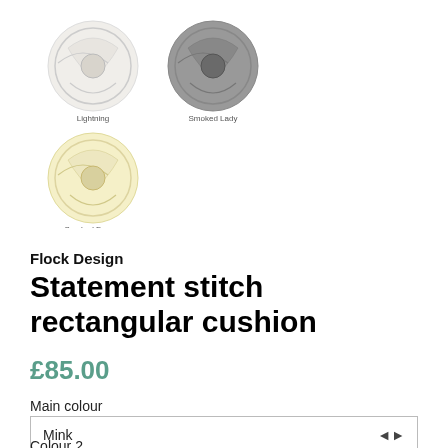[Figure (photo): Three yarn balls: white/cream (Lightning), grey (Smoked Lady), and pale yellow (Smoked Frappe), arranged in two rows with labels beneath each.]
Flock Design
Statement stitch rectangular cushion
£85.00
Main colour
Mink
Colour 2